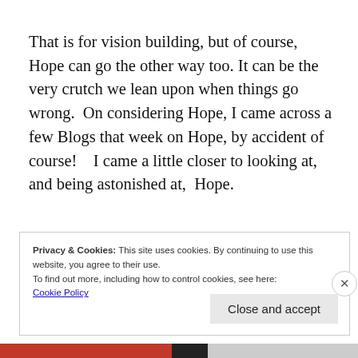That is for vision building, but of course, Hope can go the other way too. It can be the very crutch we lean upon when things go wrong.  On considering Hope, I came across a few Blogs that week on Hope, by accident of course!   I came a little closer to looking at, and being astonished at,  Hope.
Privacy & Cookies: This site uses cookies. By continuing to use this website, you agree to their use.
To find out more, including how to control cookies, see here:
Cookie Policy
Close and accept